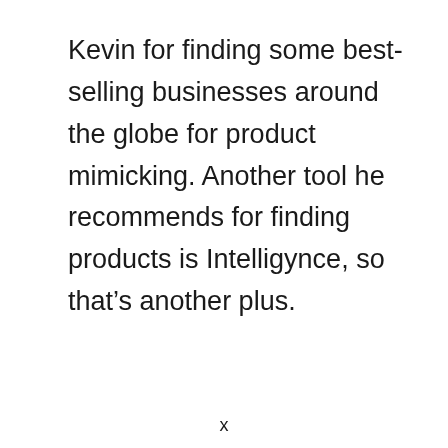Kevin for finding some best-selling businesses around the globe for product mimicking. Another tool he recommends for finding products is Intelligynce, so that's another plus.
x